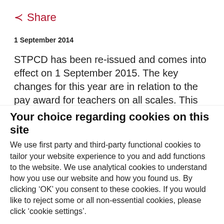Share
1 September 2014
STPCD has been re-issued and comes into effect on 1 September 2015. The key changes for this year are in relation to the pay award for teachers on all scales. This means that schools and academies who are required to follow STPCD or who continue to implement STPCD are going to have to review and update their Pay Policy and decide what they are going to do regarding any increase to the pay of teachers on all scales.
Your choice regarding cookies on this site
We use first party and third-party functional cookies to tailor your website experience to you and add functions to the website. We use analytical cookies to understand how you use our website and how you found us. By clicking ‘OK’ you consent to these cookies. If you would like to reject some or all non-essential cookies, please click ‘cookie settings’.